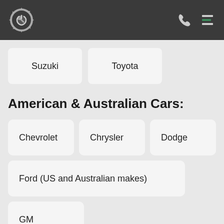[Figure (logo): Gear/wrench logo icon in grey on dark header]
Suzuki
Toyota
American & Australian Cars:
Chevrolet
Chrysler
Dodge
Ford (US and Australian makes)
GM
Holden (US and Australian makes)